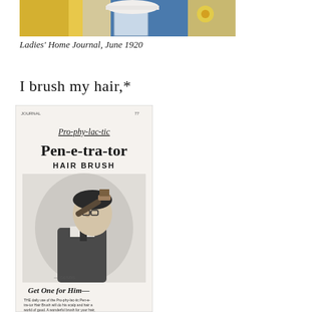[Figure (photo): Partial image of a vintage bathroom scene from Ladies' Home Journal, June 1920, showing a yellow garment, a white hat, and blue tiles]
Ladies' Home Journal, June 1920
I brush my hair,*
[Figure (photo): Black and white vintage advertisement for Pro-phy-lac-tic Pen-e-tra-tor Hair Brush showing a man brushing his hair, with text 'Get One for Him—' and advertising copy below]